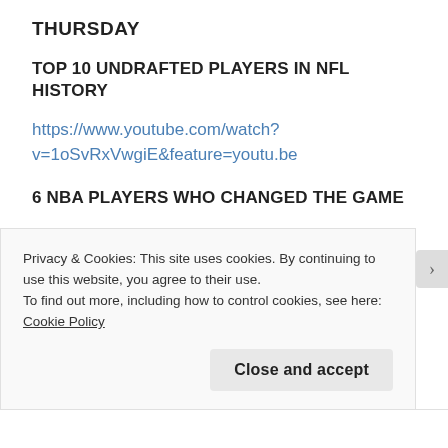THURSDAY
TOP 10 UNDRAFTED PLAYERS IN NFL HISTORY
https://www.youtube.com/watch?v=1oSvRxVwgiE&feature=youtu.be
6 NBA PLAYERS WHO CHANGED THE GAME
https://www.youtube.com/watch?v=q3NNgZKFFNg&feature=youtu.be
FRIDAY
Privacy & Cookies: This site uses cookies. By continuing to use this website, you agree to their use.
To find out more, including how to control cookies, see here: Cookie Policy
Close and accept